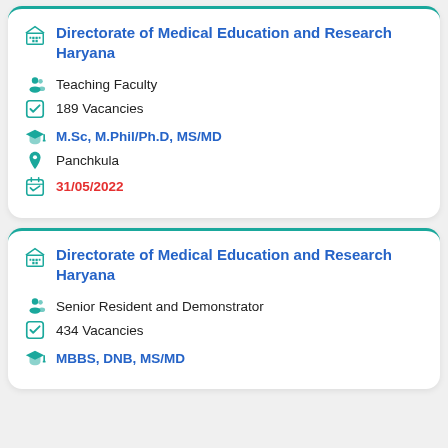Directorate of Medical Education and Research Haryana | Teaching Faculty | 189 Vacancies | M.Sc, M.Phil/Ph.D, MS/MD | Panchkula | 31/05/2022
Directorate of Medical Education and Research Haryana | Senior Resident and Demonstrator | 434 Vacancies | MBBS, DNB, MS/MD